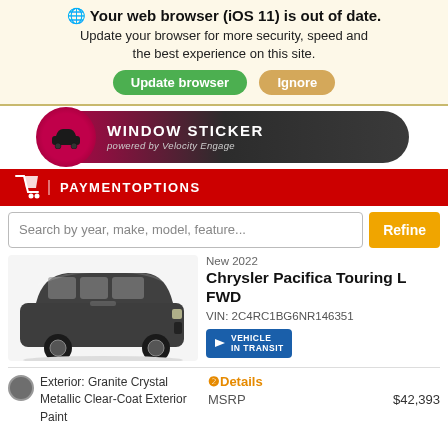🌐 Your web browser (iOS 11) is out of date. Update your browser for more security, speed and the best experience on this site.
Update browser | Ignore
[Figure (illustration): Window Sticker banner with car icon, powered by Velocity Engage]
[Figure (illustration): Red Payment Options bar with shopping cart icon]
Search by year, make, model, feature... Refine
[Figure (photo): Dark gray Chrysler Pacifica minivan, 3/4 front view]
New 2022
Chrysler Pacifica Touring L FWD
VIN: 2C4RC1BG6NR146351
[Figure (illustration): Vehicle In Transit badge]
Exterior: Granite Crystal Metallic Clear-Coat Exterior Paint
❷Details
MSRP    $42,393